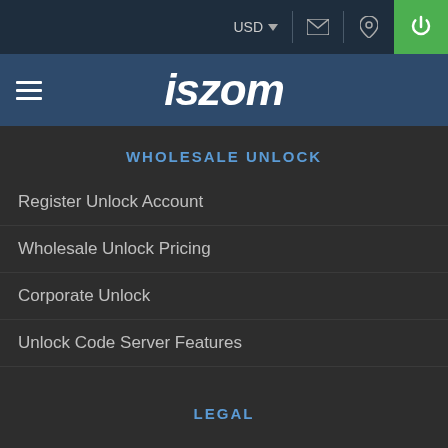USD ▾ [mail] [location] [power]
iszom
WHOLESALE UNLOCK
Register Unlock Account
Wholesale Unlock Pricing
Corporate Unlock
Unlock Code Server Features
LEGAL
Contact
Terms & Conditions
Privacy Policy